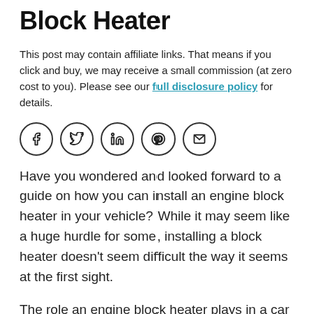Block Heater
This post may contain affiliate links. That means if you click and buy, we may receive a small commission (at zero cost to you). Please see our full disclosure policy for details.
[Figure (other): Social sharing icons: Facebook, Twitter, LinkedIn, Pinterest, Email]
Have you wondered and looked forward to a guide on how you can install an engine block heater in your vehicle? While it may seem like a huge hurdle for some, installing a block heater doesn’t seem difficult the way it seems at the first sight.
The role an engine block heater plays in a car engine is similar to what a workout